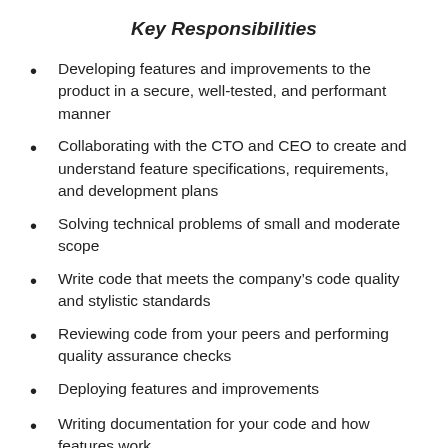Key Responsibilities
Developing features and improvements to the product in a secure, well-tested, and performant manner
Collaborating with the CTO and CEO to create and understand feature specifications, requirements, and development plans
Solving technical problems of small and moderate scope
Write code that meets the company’s code quality and stylistic standards
Reviewing code from your peers and performing quality assurance checks
Deploying features and improvements
Writing documentation for your code and how features work
Pair programming when needed